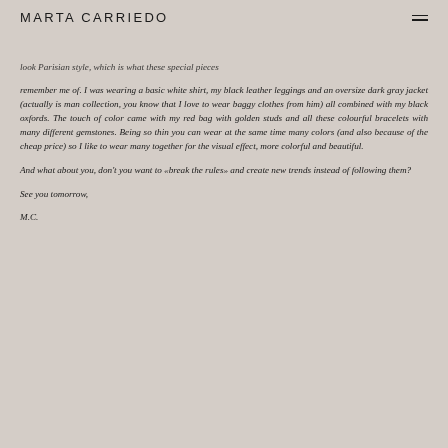MARTA CARRIEDO
look Parisian style, which is what these special pieces remember me of. I was wearing a basic white shirt, my black leather leggings and an oversize dark gray jacket (actually is man collection, you know that I love to wear baggy clothes from him) all combined with my black oxfords. The touch of color came with my red bag with golden studs and all these colourful bracelets with many different gemstones. Being so thin you can wear at the same time many colors (and also because of the cheap price) so I like to wear many together for the visual effect, more colorful and beautiful.
And what about you, don't you want to «break the rules» and create new trends instead of following them?
See you tomorrow,
M.C.